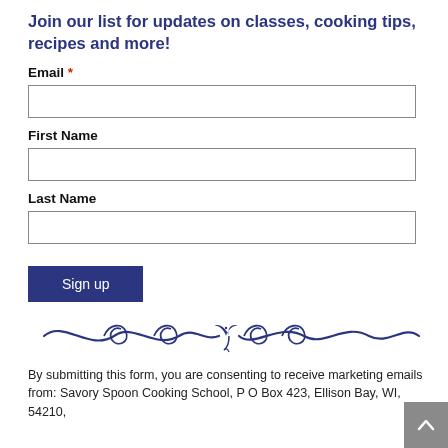Join our list for updates on classes, cooking tips, recipes and more!
Email *
First Name
Last Name
[Figure (illustration): Decorative dark blue wave/scroll divider with a small bird/flourish in the center]
By submitting this form, you are consenting to receive marketing emails from: Savory Spoon Cooking School, P O Box 423, Ellison Bay, WI, 54210,